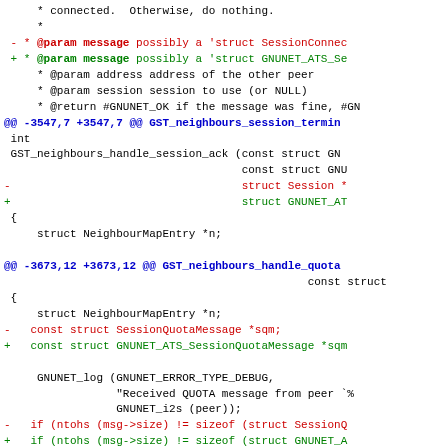Code diff showing GNUnet neighbour session handling changes
@@ -3547,7 +3547,7 @@ GST_neighbours_session_termin
@@ -3673,12 +3673,12 @@ GST_neighbours_handle_quota